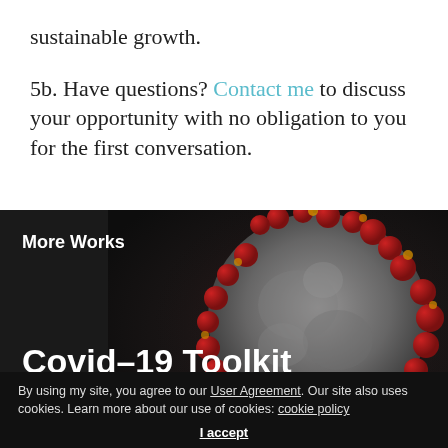sustainable growth.
5b. Have questions? Contact me to discuss your opportunity with no obligation to you for the first conversation.
More Works
[Figure (photo): Microscopic image of a coronavirus particle (SARS-CoV-2) showing red spike proteins on a grey spherical surface against a dark background.]
Covid–19 Toolkit  Consulting
By using my site, you agree to our User Agreement. Our site also uses cookies. Learn more about our use of cookies: cookie policy
I accept